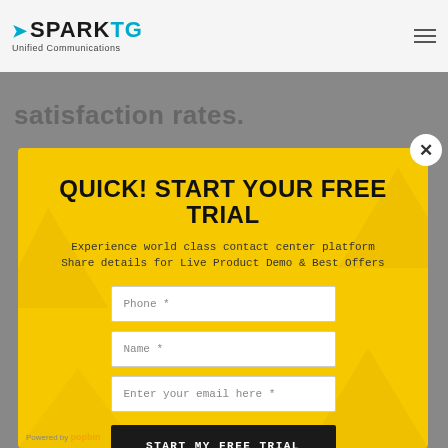[Figure (screenshot): SparkTG Unified Communications website header with logo and hamburger menu]
satisfaction rates.
QUICK! START YOUR FREE TRIAL
Experience world class contact center platform
Share details for Live Product Demo & Best Offers
Phone *
Name *
Enter your email here *
START MY FREE TRIAL
Powered by popbin